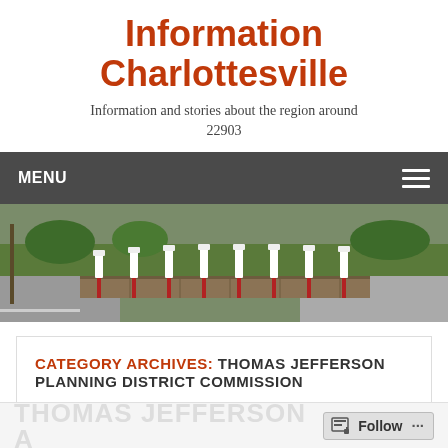Information Charlottesville
Information and stories about the region around 22903
MENU
[Figure (photo): Outdoor photo showing a row of Tesla Supercharger stations in a parking lot with a stone retaining wall, grass, trees, and road in the background.]
CATEGORY ARCHIVES: THOMAS JEFFERSON PLANNING DISTRICT COMMISSION
Follow